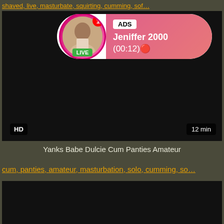shaved, … live, masturbate, squirting, sof…
[Figure (screenshot): Video player with black background showing an ad overlay. Ad overlay contains a circular avatar with a woman's photo, a LIVE badge, a notification badge, and a pink gradient box with 'ADS', 'Jeniffer 2000', '(00:12)🔴'. HD badge at bottom-left, '12 min' badge at bottom-right.]
Yanks Babe Dulcie Cum Panties Amateur
cum, panties, amateur, masturbation, solo, cumming, so…
[Figure (screenshot): Second video thumbnail with black background]